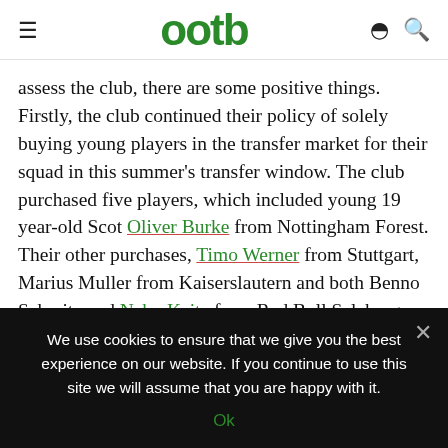ootb
assess the club, there are some positive things. Firstly, the club continued their policy of solely buying young players in the transfer market for their squad in this summer's transfer window. The club purchased five players, which included young 19 year-old Scot Oliver Burke from Nottingham Forest. Their other purchases, Timo Werner from Stuttgart, Marius Muller from Kaiserslautern and both Benno Schmitz and Naby Keita from Red Bull Salzburg are 20, 23, 21 and 21 years old respectively. When a smaller club wins promotion to their
We use cookies to ensure that we give you the best experience on our website. If you continue to use this site we will assume that you are happy with it.
Ok